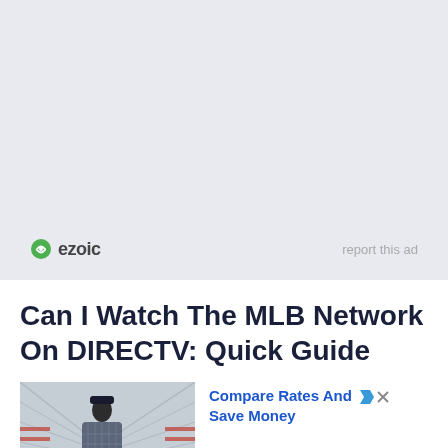[Figure (logo): Ezoic logo with green circular icon and dark text 'ezoic', with 'report this ad' text on the right]
Can I Watch The MLB Network On DIRECTV: Quick Guide
[Figure (photo): Ad image showing a man in a plaid shirt standing in front of a truck trailer, with 'Q' badge overlay]
Compare Rates And Save Money
Ad